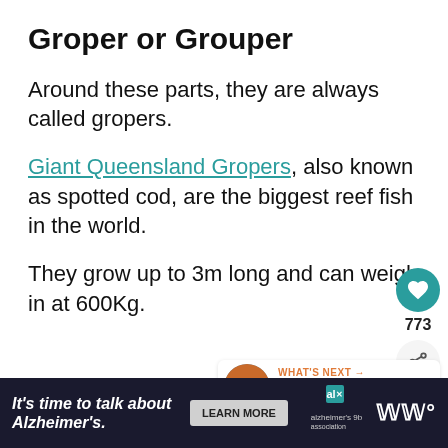Groper or Grouper
Around these parts, they are always called gropers.
Giant Queensland Gropers, also known as spotted cod, are the biggest reef fish in the world.
They grow up to 3m long and can weigh in at 600Kg.
[Figure (infographic): Social widget showing a teal heart button, like count 773, and a share button]
[Figure (infographic): What's Next widget showing a circular image and text 'Port Douglas Diving – A D...']
[Figure (infographic): Advertisement banner: It's time to talk about Alzheimer's. LEARN MORE. Alzheimer's Association logo. Close button.]